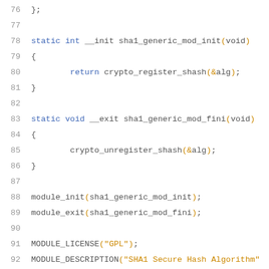Code listing lines 76-95: sha1_generic module C source code
76    };
77    (blank)
78    static int __init sha1_generic_mod_init(void)
79    {
80            return crypto_register_shash(&alg);
81    }
82    (blank)
83    static void __exit sha1_generic_mod_fini(void)
84    {
85            crypto_unregister_shash(&alg);
86    }
87    (blank)
88    module_init(sha1_generic_mod_init);
89    module_exit(sha1_generic_mod_fini);
90    (blank)
91    MODULE_LICENSE("GPL");
92    MODULE_DESCRIPTION("SHA1 Secure Hash Algorithm");
93    (blank)
94    MODULE_ALIAS_CRYPTO("sha1");
95    MODULE_ALIAS_CRYPTO("sha1-generic");